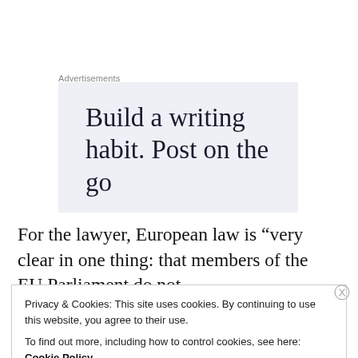Advertisements
[Figure (screenshot): Advertisement banner with light blue-grey background showing text: 'Build a writing habit. Post on the go' in large serif font, partially cropped at bottom]
For the lawyer, European law is “very clear in one thing: that members of the EU Parliament do not
Privacy & Cookies: This site uses cookies. By continuing to use this website, you agree to their use.
To find out more, including how to control cookies, see here: Cookie Policy
Close and accept